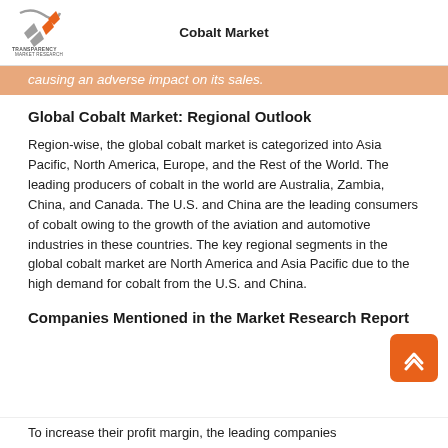Cobalt Market
causing an adverse impact on its sales.
Global Cobalt Market: Regional Outlook
Region-wise, the global cobalt market is categorized into Asia Pacific, North America, Europe, and the Rest of the World. The leading producers of cobalt in the world are Australia, Zambia, China, and Canada. The U.S. and China are the leading consumers of cobalt owing to the growth of the aviation and automotive industries in these countries. The key regional segments in the global cobalt market are North America and Asia Pacific due to the high demand for cobalt from the U.S. and China.
Companies Mentioned in the Market Research Report
To increase their profit margin, the leading companies